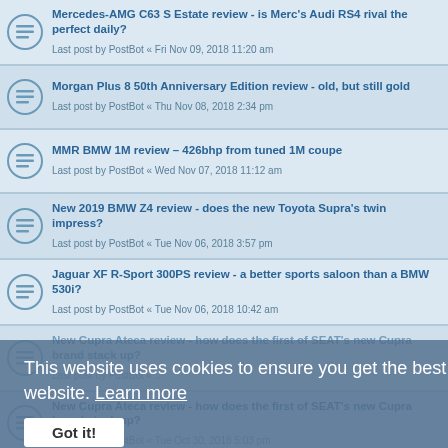Mercedes-AMG C63 S Estate review - is Merc's Audi RS4 rival the perfect daily?
Last post by PostBot « Fri Nov 09, 2018 11:20 am
Morgan Plus 8 50th Anniversary Edition review - old, but still gold
Last post by PostBot « Thu Nov 08, 2018 2:34 pm
MMR BMW 1M review – 426bhp from tuned 1M coupe
Last post by PostBot « Wed Nov 07, 2018 11:12 am
New 2019 BMW Z4 review - does the new Toyota Supra's twin impress?
Last post by PostBot « Tue Nov 06, 2018 3:57 pm
Jaguar XF R-Sport 300PS review - a better sports saloon than a BMW 530i?
Last post by PostBot « Tue Nov 06, 2018 10:42 am
New Cupra Ateca review - how does the first of SEAT's new Cupra brand stack up?
Last post by PostBot « ...
New Cupra Ateca review - how does the first of SEAT's new Cupra brand stack up?
Last post by PostBot « Tue Oct 30, 2018 5:03 pm
New 2019 Porsche Panamera GTS review - new Panamera to tempt AMG E63S customers
Last post by PostBot « Tue Oct 30, 2018 3:00 pm
This website uses cookies to ensure you get the best experience on our website. Learn more
Got it!